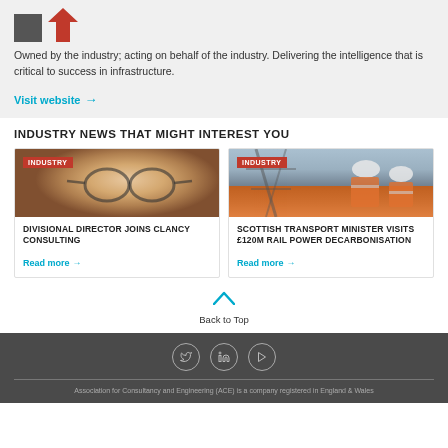[Figure (logo): Gray square and red pin/location marker logo]
Owned by the industry; acting on behalf of the industry. Delivering the intelligence that is critical to success in infrastructure.
Visit website →
INDUSTRY NEWS THAT MIGHT INTEREST YOU
[Figure (photo): Close-up photo of a woman with glasses and blonde hair with INDUSTRY tag]
DIVISIONAL DIRECTOR JOINS CLANCY CONSULTING
Read more →
[Figure (photo): Two workers in orange high-vis jackets and white hard hats on rail infrastructure with INDUSTRY tag]
SCOTTISH TRANSPORT MINISTER VISITS £120M RAIL POWER DECARBONISATION
Read more →
Back to Top
Association for Consultancy and Engineering (ACE) is a company registered in England & Wales